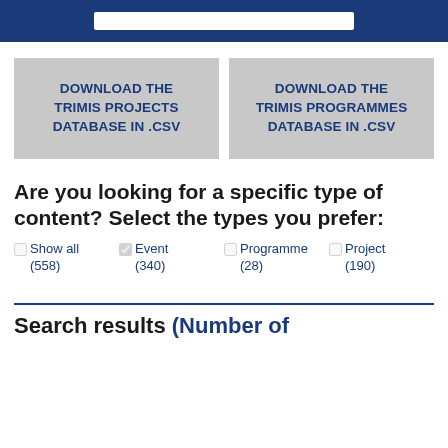[Figure (screenshot): Top navigation banner with dark blue background and a search bar input]
DOWNLOAD THE TRIMIS PROJECTS DATABASE IN .CSV
DOWNLOAD THE TRIMIS PROGRAMMES DATABASE IN .CSV
Are you looking for a specific type of content? Select the types you prefer:
Show all (558)
Event (340)
Programme (28)
Project (190)
Search results (Number of